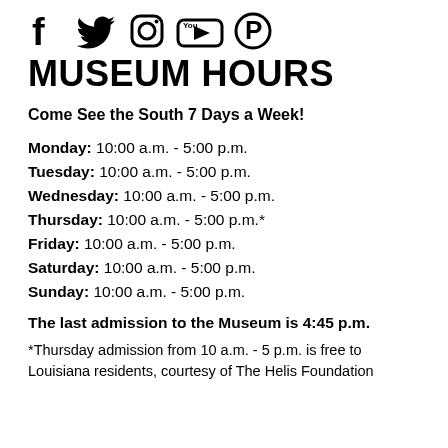[Figure (illustration): Social media icons: Facebook, Twitter, Instagram, YouTube, Pinterest]
MUSEUM HOURS
Come See the South 7 Days a Week!
Monday: 10:00 a.m. - 5:00 p.m.
Tuesday: 10:00 a.m. - 5:00 p.m.
Wednesday: 10:00 a.m. - 5:00 p.m.
Thursday: 10:00 a.m. - 5:00 p.m.*
Friday: 10:00 a.m. - 5:00 p.m.
Saturday: 10:00 a.m. - 5:00 p.m.
Sunday: 10:00 a.m. - 5:00 p.m.
The last admission to the Museum is 4:45 p.m.
*Thursday admission from 10 a.m. - 5 p.m. is free to Louisiana residents, courtesy of The Helis Foundation